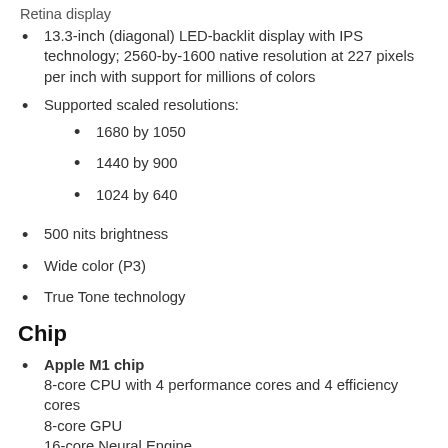Retina display
13.3-inch (diagonal) LED-backlit display with IPS technology; 2560-by-1600 native resolution at 227 pixels per inch with support for millions of colors
Supported scaled resolutions:
1680 by 1050
1440 by 900
1024 by 640
500 nits brightness
Wide color (P3)
True Tone technology
Chip
Apple M1 chip
8-core CPU with 4 performance cores and 4 efficiency cores
8-core GPU
16-core Neural Engine
Battery and Power¹